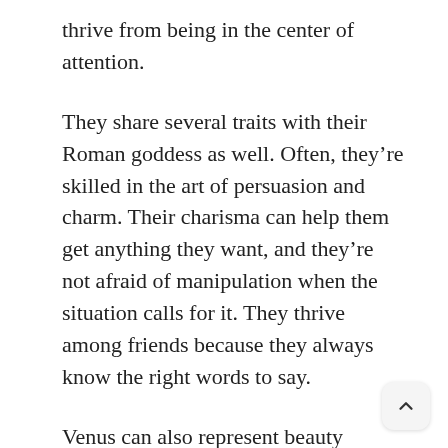thrive from being in the center of attention.
They share several traits with their Roman goddess as well. Often, they’re skilled in the art of persuasion and charm. Their charisma can help them get anything they want, and they’re not afraid of manipulation when the situation calls for it. They thrive among friends because they always know the right words to say.
Venus can also represent beauty within harmony and balance. Libras are always trying to resolve conflicts and make peace between others. Their charm helps their diplomatic abilities, and they’re able to defuse the tensest situations. They search for common ground between two opposing forces, finding harmony in the most unlikely scenarios.